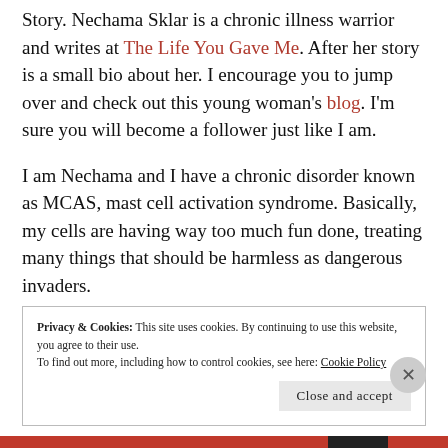Story. Nechama Sklar is a chronic illness warrior and writes at The Life You Gave Me. After her story is a small bio about her. I encourage you to jump over and check out this young woman's blog. I'm sure you will become a follower just like I am.
I am Nechama and I have a chronic disorder known as MCAS, mast cell activation syndrome. Basically, my cells are having way too much fun done, treating many things that should be harmless as dangerous invaders.
Privacy & Cookies: This site uses cookies. By continuing to use this website, you agree to their use. To find out more, including how to control cookies, see here: Cookie Policy